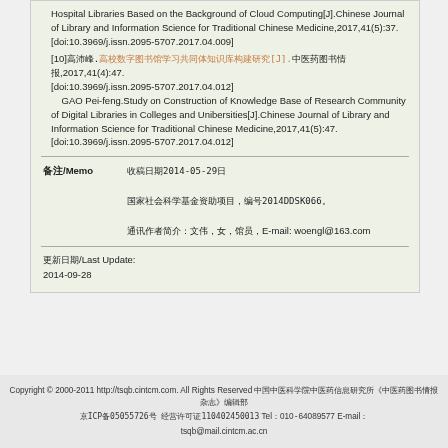Hospital Libraries Based on the Background of Cloud Computing[J].Chinese Journal of Library and Information Science for Traditional Chinese Medicine,2017,41(5):37.[doi:10.3969/j.issn.2095-5707.2017.04.009]
[10]高沛峰.高校数字图书馆学习共同体知识库构建研究[J].中医药图书情报,2017,41(4):47.[doi:10.3969/j.issn.2095-5707.2017.04.012]
    GAO Pei-feng.Study on Construction of Knowledge Base of Research Community of Digital Libraries in Colleges and Unibersities[J].Chinese Journal of Library and Information Science for Traditional Chinese Medicine,2017,41(5):47.[doi:10.3969/j.issn.2095-5707.2017.04.012]
备注/Memo  收稿日期2014-05-29日
国家社会科学基金资助项目，编号2014DDSK066。
通讯作者简介：文伟，女，馆员，E-mail: woengl@163.com
更新日期/Last Update:
2014-09-28
Copyright © 2000-2011 http://tsqb.cintcm.com. All Rights Reserved 中国中医科学院中医药信息研究所《中医药图书情报杂志》编辑部
京ICP备05055726号 经营许可证110402450013 Tel：010-64089577 E-mail：tsqb@mail.cintcm.ac.cn